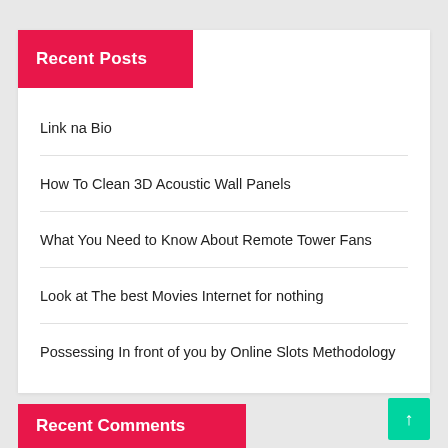Recent Posts
Link na Bio
How To Clean 3D Acoustic Wall Panels
What You Need to Know About Remote Tower Fans
Look at The best Movies Internet for nothing
Possessing In front of you by Online Slots Methodology
Recent Comments